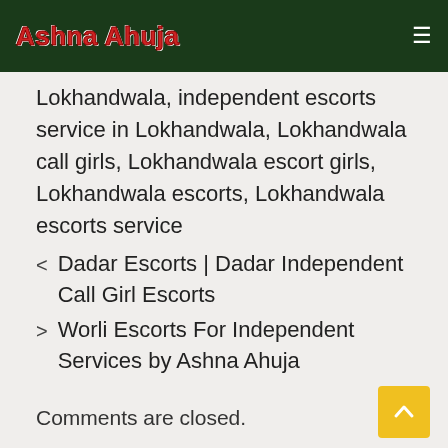Ashna Ahuja
Lokhandwala, independent escorts service in Lokhandwala, Lokhandwala call girls, Lokhandwala escort girls, Lokhandwala escorts, Lokhandwala escorts service
< Dadar Escorts | Dadar Independent Call Girl Escorts
> Worli Escorts For Independent Services by Ashna Ahuja
Comments are closed.